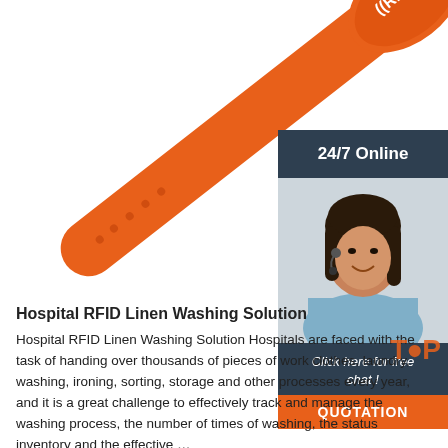[Figure (photo): Orange RFID wristband/laundry tag with white RFID text and signal icon, shown diagonally across the upper portion of the page]
[Figure (infographic): Sidebar widget with dark navy header '24/7 Online', photo of smiling woman with headset, dark navy text 'Click here for free chat!', and orange 'QUOTATION' button]
Hospital RFID Linen Washing Solution
Hospital RFID Linen Washing Solution Hospitals are faced with the task of handing over thousands of pieces of work clothes, laundry, washing, ironing, sorting, storage and other processes every year, and it is a great challenge to effectively track and manage the washing process, the number of times of washing, the status inventory and the effective …